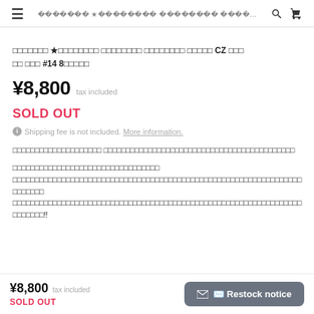≡  ￭￭￭￭￭￭￭ ★￭￭￭￭￭￭￭￭ ￭￭￭￭￭￭￭￭ ￭￭￭￭...  🔍  🛒
￭￭￭￭￭￭￭ ★￭￭￭￭￭￭￭￭ ￭￭￭￭￭￭￭￭ ￭￭￭￭￭￭￭￭ ￭￭￭￭￭ CZ ￭￭￭ ￭￭ ￭￭￭ #14 8￭￭￭￭￭
¥8,800  tax included
SOLD OUT
ℹ Shipping fee is not included. More information.
￭￭￭￭￭￭￭￭￭￭￭￭￭￭￭￭￭￭￭￭ ￭￭￭￭￭￭￭￭￭￭￭￭￭￭￭￭￭￭￭￭￭￭￭￭￭￭￭￭￭￭￭￭￭￭￭￭￭￭￭￭￭￭￭
￭￭￭￭￭￭￭￭￭￭￭￭￭￭￭￭￭￭￭￭￭￭￭￭￭￭￭￭￭￭￭￭￭
￭￭￭￭￭￭￭￭￭￭￭￭￭￭￭￭￭￭￭￭￭￭￭￭￭￭￭￭￭￭￭￭￭￭￭￭￭￭￭￭￭￭￭￭￭￭￭￭￭￭￭￭￭￭￭￭￭￭￭￭￭￭￭￭￭
￭￭￭￭￭￭￭
￭￭￭￭￭￭￭￭￭￭￭￭￭￭￭￭￭￭￭￭￭￭￭￭￭￭￭￭￭￭￭￭￭￭￭￭￭￭￭￭￭￭￭￭￭￭￭￭￭￭￭￭￭￭￭￭￭￭￭￭￭￭￭￭￭
￭￭￭￭￭￭￭!!
¥8,800  tax included
SOLD OUT
✉ Restock notice